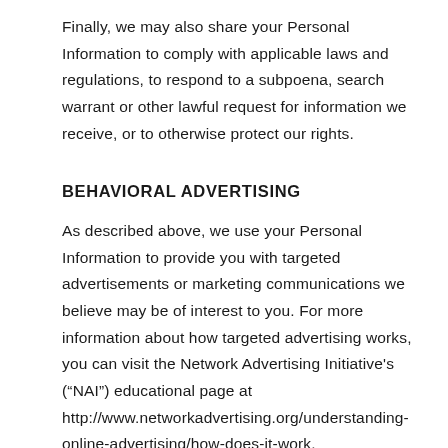Finally, we may also share your Personal Information to comply with applicable laws and regulations, to respond to a subpoena, search warrant or other lawful request for information we receive, or to otherwise protect our rights.
BEHAVIORAL ADVERTISING
As described above, we use your Personal Information to provide you with targeted advertisements or marketing communications we believe may be of interest to you. For more information about how targeted advertising works, you can visit the Network Advertising Initiative's (“NAI”) educational page at http://www.networkadvertising.org/understanding-online-advertising/how-does-it-work.